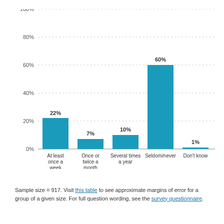[Figure (bar-chart): ]
Sample size = 917. Visit this table to see approximate margins of error for a group of a given size. For full question wording, see the survey questionnaire.